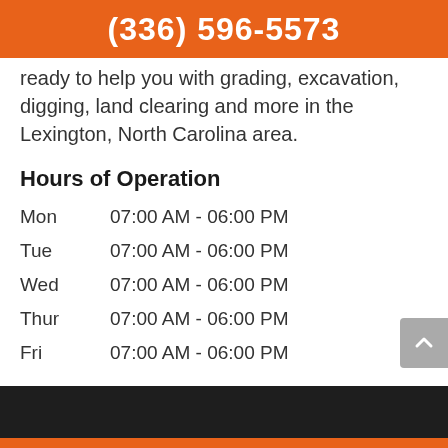(336) 596-5573
ready to help you with grading, excavation, digging, land clearing and more in the Lexington, North Carolina area.
Hours of Operation
Mon     07:00 AM - 06:00 PM
Tue     07:00 AM - 06:00 PM
Wed     07:00 AM - 06:00 PM
Thur    07:00 AM - 06:00 PM
Fri     07:00 AM - 06:00 PM
HOURS   MAP